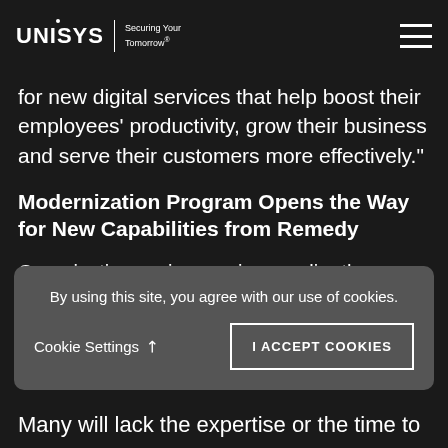UNISYS | Securing Your Tomorrow®
based enhancements enable organizations to unlock the full power of the Remedy platform for new digital services that help boost their employees' productivity, grow their business and serve their customers more effectively."
Modernization Program Opens the Way for New Capabilities from Remedy
Organizations using versions earlier than Remedy 9.1 will face challenges with SAN...
By using this site, you agree with our use of cookies.
Many will lack the expertise or the time to